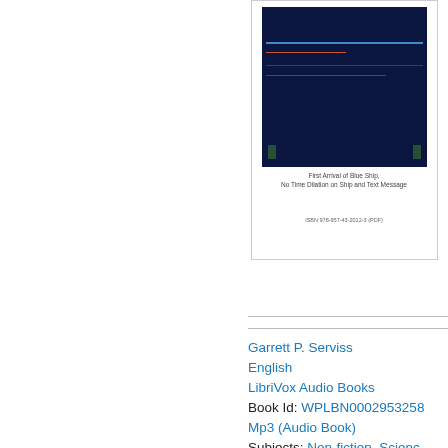[Figure (photo): Book cover screenshot showing a spaceship diagram with blue and red lines on dark background. Caption reads 'First Arrival of Blue Ship, No Time Dilation on Ship and Text Message'. ISBN 978-957-43-2012-3 (PDF) shown at bottom.]
First Arrival of Blue Ship,
No Time Dilation on Ship and Text Message
ISBN 978-957-43-2012-3 (PDF)
Garrett P. Serviss
English
LibriVox Audio Books
Book Id: WPLBN000295325...
Mp3 (Audio Book)
Subjects: Non-fiction, Scienc...
Collections: Literature, Astro...
[Figure (photo): PDF icon (red/orange document icon with PDF label)]
[Figure (photo): Book cover showing 'Alexander Popoff' text on dark brownish background]